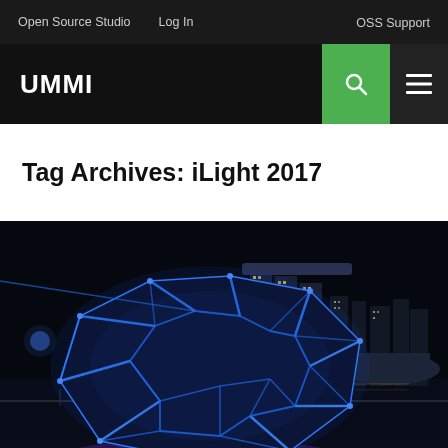Open Source Studio   Log In   OSS Support
UMMI
Tag Archives: iLight 2017
[Figure (photo): Night photograph of a large illuminated geometric sculpture (blue dodecahedron-like structure) on a waterfront promenade in Singapore, with the Marina Bay Sands hotel and city skyline visible in the background, reflected in the water.]